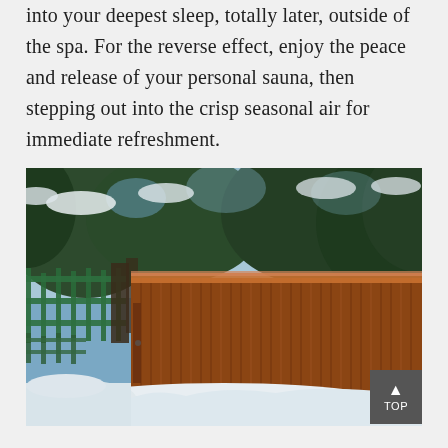into your deepest sleep, totally later, outside of the spa. For the reverse effect, enjoy the peace and release of your personal sauna, then stepping out into the crisp seasonal air for immediate refreshment.
[Figure (photo): Outdoor hot tub or sauna with wooden cedar siding surrounded by snow-covered ground, evergreen trees in the background, and a green metal fence/railing visible on the left side. A 'TOP' button overlay appears in the bottom-right corner.]